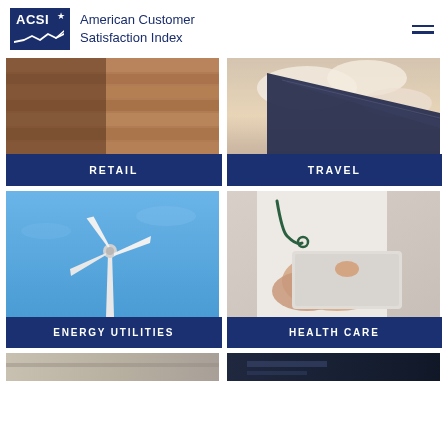ACSI American Customer Satisfaction Index
[Figure (photo): Aerial wooden planks / retail scene with dark overlay and RETAIL label]
[Figure (photo): Airplane wing with clouds, TRAVEL label]
[Figure (photo): Wind turbine against blue sky, ENERGY UTILITIES label]
[Figure (photo): Doctor or healthcare worker using a tablet, HEALTH CARE label]
[Figure (photo): Partial image at bottom left, category not fully visible]
[Figure (photo): Partial image at bottom right, dark scene, category not fully visible]